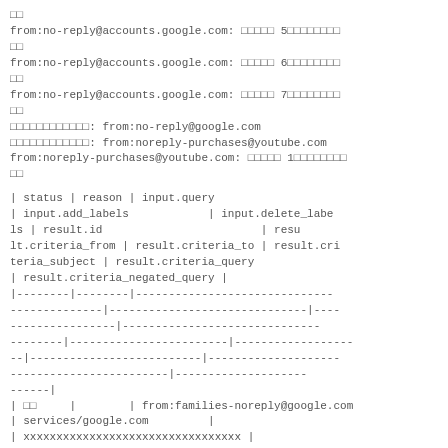□□
from:no-reply@accounts.google.com: □□□□□ 5□□□□□□□□
□□
from:no-reply@accounts.google.com: □□□□□ 6□□□□□□□□
□□
from:no-reply@accounts.google.com: □□□□□ 7□□□□□□□□
□□
□□□□□□□□□□□□: from:no-reply@google.com
□□□□□□□□□□□□: from:noreply-purchases@youtube.com
from:noreply-purchases@youtube.com: □□□□□ 1□□□□□□□□
□□
| status | reason | input.query
| input.add_labels            | input.delete_labels | result.id                        | result.criteria_from | result.criteria_to | result.criteria_subject | result.criteria_query
| result.criteria_negated_query |
|--------|--------|----------------------------------------------------------------------------------------------|--------------------|-------------------------------|---------------------|--------------------------|--------------------|-----------------------------|------------------------------|------------------------|
| □□     |        | from:families-noreply@google.com | services/google.com         |
| xxxxxxxxxxxxxxxxxxxxxxxxxxxxxxxxx |
|                   |                   | f